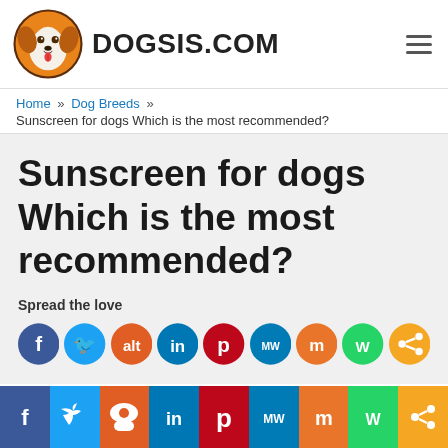DOGSIS.COM
Home » Dog Breeds » Sunscreen for dogs Which is the most recommended?
Sunscreen for dogs Which is the most recommended?
Spread the love
[Figure (infographic): Social sharing icons row: Facebook, Twitter, Reddit, LinkedIn, Pinterest, MeWe, Mix, WhatsApp, Share]
[Figure (infographic): Bottom social sharing bar: Facebook, Twitter, Reddit, LinkedIn, Pinterest, MeWe, Mix, WhatsApp, Share]